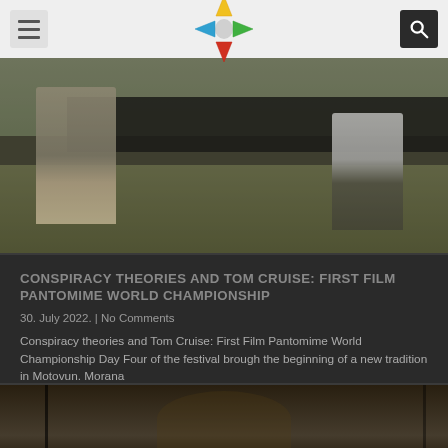[Figure (photo): Outdoor festival scene showing people walking on grass near a dark table/booth area]
CONSPIRACY THEORIES AND TOM CRUISE: FIRST FILM PANTOMIME WORLD CHAMPIONSHIP
30. July 2022. | No Comments
Conspiracy theories and Tom Cruise: First Film Pantomime World Championship Day Four of the festival brough the beginning of a new tradition in Motovun. Morana
Više »
[Figure (photo): Nighttime outdoor stone building scene, possibly a festival venue]